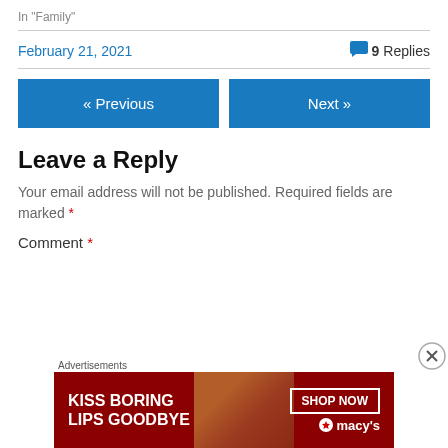In "Family"
February 21, 2021    💬 9 Replies
« Previous
Next »
Leave a Reply
Your email address will not be published. Required fields are marked *
Comment *
[Figure (infographic): Advertisement banner: KISS BORING LIPS GOODBYE with SHOP NOW button and Macy's logo on dark red background]
Advertisements